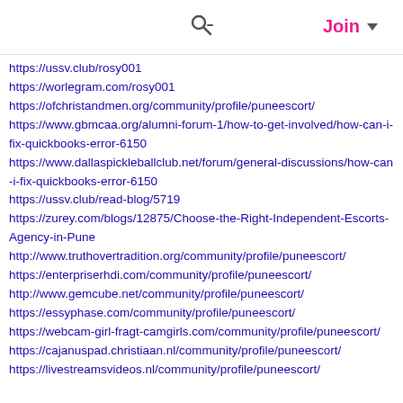Search | Join
https://ussv.club/rosy001
https://worlegram.com/rosy001
https://ofchristandmen.org/community/profile/puneescort/
https://www.gbmcaa.org/alumni-forum-1/how-to-get-involved/how-can-i-fix-quickbooks-error-6150
https://www.dallaspickleballclub.net/forum/general-discussions/how-can-i-fix-quickbooks-error-6150
https://ussv.club/read-blog/5719
https://zurey.com/blogs/12875/Choose-the-Right-Independent-Escorts-Agency-in-Pune
http://www.truthovertradition.org/community/profile/puneescort/
https://enterpriserhdi.com/community/profile/puneescort/
http://www.gemcube.net/community/profile/puneescort/
https://essyphase.com/community/profile/puneescort/
https://webcam-girl-fragt-camgirls.com/community/profile/puneescort/
https://cajanuspad.christiaan.nl/community/profile/puneescort/
https://livestreamsvideos.nl/community/profile/puneescort/